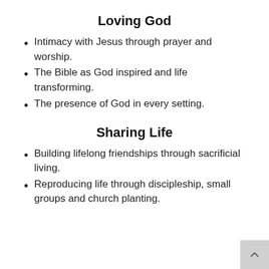Loving God
Intimacy with Jesus through prayer and worship.
The Bible as God inspired and life transforming.
The presence of God in every setting.
Sharing Life
Building lifelong friendships through sacrificial living.
Reproducing life through discipleship, small groups and church planting.